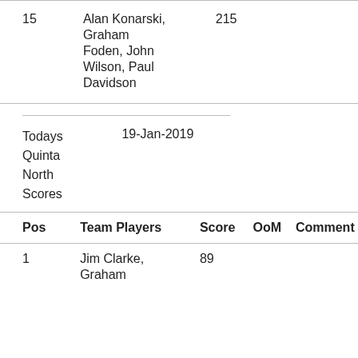| Pos | Team Players | Score | OoM | Comment |
| --- | --- | --- | --- | --- |
| 15 | Alan Konarski, Graham Foden, John Wilson, Paul Davidson | 215 |  |  |
|  |  |  |  |  |
| 1 | Jim Clarke, Graham | 89 |  |  |
Todays Quinta North Scores    19-Jan-2019
| Pos | Team Players | Score | OoM | Comment |
| --- | --- | --- | --- | --- |
| 1 | Jim Clarke, Graham | 89 |  |  |